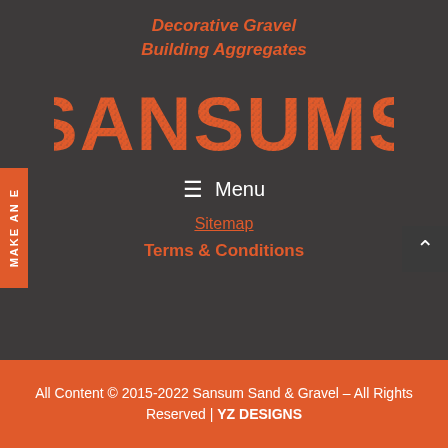Decorative Gravel
Building Aggregates
[Figure (logo): SANSUMS logo in large distressed orange bold text on dark background]
≡  Menu
Sitemap
Terms & Conditions
All Content © 2015-2022 Sansum Sand & Gravel – All Rights Reserved | YZ DESIGNS